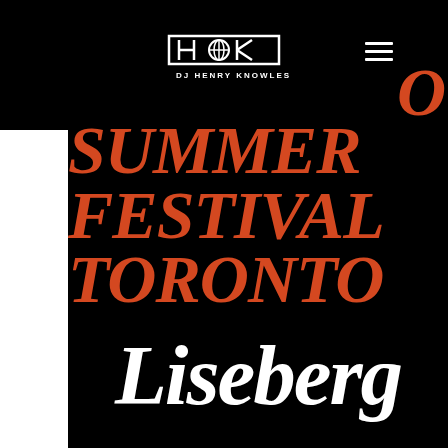DJ HENRY KNOWLES
SUMMER’O FESTIVAL TORONTO
[Figure (logo): Liseberg logo in white italic script font on black background]